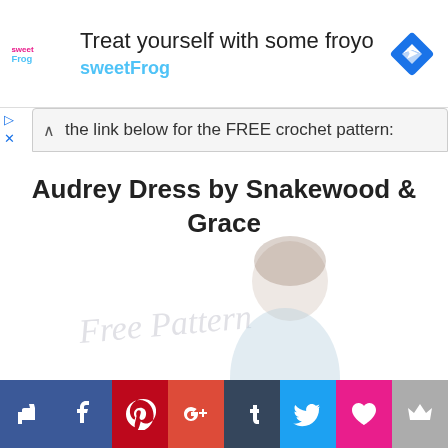[Figure (screenshot): SweetFrog advertisement banner with logo, text 'Treat yourself with some froyo' and 'sweetFrog', and a blue diamond navigation icon]
Click the link below for the FREE crochet pattern:
Audrey Dress by Snakewood & Grace
[Figure (photo): Faded/watermarked photo of a young child wearing a light blue crochet dress, with 'Free Pattern' watermark text]
[Figure (infographic): Social media sharing bar with 8 buttons: like (dark blue), Facebook (dark blue), Pinterest (red), Google+ (orange-red), Tumblr (dark blue), Twitter (light blue), heart/Fancy (pink), crown (gray)]